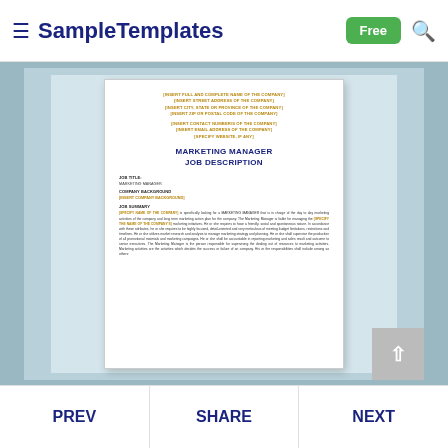SampleTemplates | Free
[Figure (screenshot): Marketing Manager Job Description document template preview on SampleTemplates website, showing company address placeholders, document title, job title, company background, and job summary sections.]
PREV | SHARE | NEXT